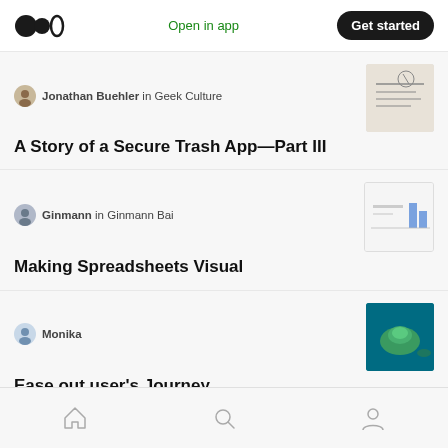Medium app header with logo, Open in app link, and Get started button
Jonathan Buehler in Geek Culture
A Story of a Secure Trash App—Part III
Ginmann in Ginmann Bai
Making Spreadsheets Visual
Monika
Ease out user's Journey
Jorge Arango
The Ladder of Abstraction
Home, Search, Profile navigation icons